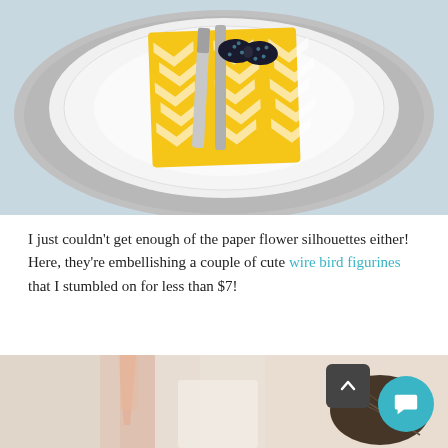[Figure (photo): Top-down view of a white plate with silver charger, yellow chevron napkin, silver cutlery, and a black polka-dot bow tie placed on top.]
I just couldn't get enough of the paper flower silhouettes either! Here, they're embellishing a couple of cute wire bird figurines that I stumbled on for less than $7!
[Figure (photo): Partial bottom photo showing a wire bird figurine decoration with a champagne flute in the background on a table setting.]